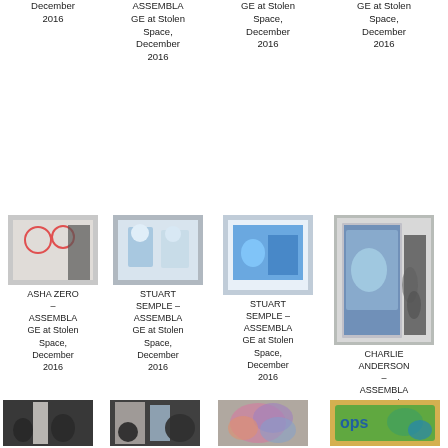December 2016
ASSEMBLAGE at Stolen Space, December 2016
GE at Stolen Space, December 2016
GE at Stolen Space, December 2016
[Figure (photo): Gallery wall with circular artworks and a visitor silhouette]
ASHA ZERO – ASSEMBLAGE at Stolen Space, December 2016
[Figure (photo): Gallery interior with framed artworks on wall]
STUART SEMPLE – ASSEMBLAGE at Stolen Space, December 2016
[Figure (photo): Blue colorful artwork on wall]
STUART SEMPLE – ASSEMBLAGE at Stolen Space, December 2016
[Figure (photo): Gallery hallway with large colorful painting and visitors]
CHARLIE ANDERSON – ASSEMBLAGE at Stolen Space, December 2016
[Figure (photo): Dark crowd in gallery space]
[Figure (photo): Gallery crowd with white artwork]
[Figure (photo): Large colorful mural artwork]
[Figure (photo): Colorful graffiti-style artwork]